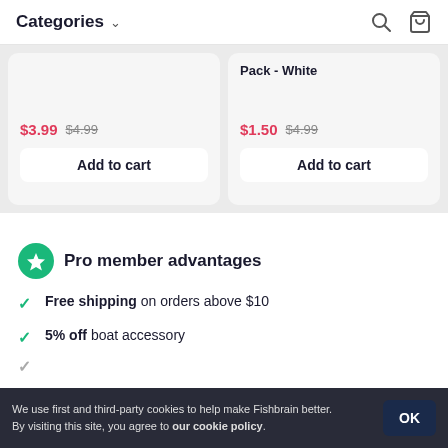Categories
$3.99  $4.99  Add to cart
Pack - White  $1.50  $4.99  Add to cart
Pro member advantages
Free shipping on orders above $10
5% off boat accessory
We use first and third-party cookies to help make Fishbrain better. By visiting this site, you agree to our cookie policy.